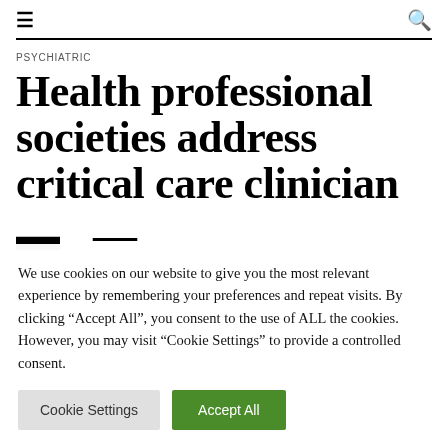≡  🔍
PSYCHIATRIC
Health professional societies address critical care clinician
We use cookies on our website to give you the most relevant experience by remembering your preferences and repeat visits. By clicking "Accept All", you consent to the use of ALL the cookies. However, you may visit "Cookie Settings" to provide a controlled consent.
Cookie Settings | Accept All